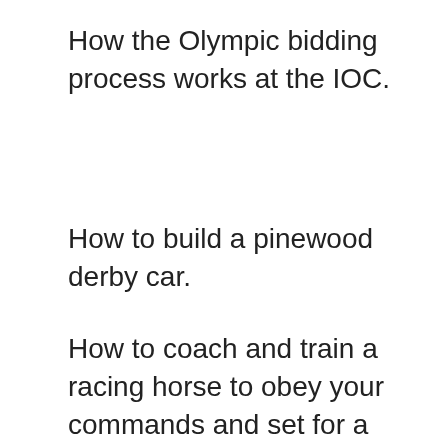How the Olympic bidding process works at the IOC.
How to build a pinewood derby car.
How to coach and train a racing horse to obey your commands and set for a winning mood.
How to increase your strength speed,
[Figure (screenshot): Video player overlay with title 'Happy Music For Studying' and message 'No compatible source was found for this media.' with close button and X icon.]